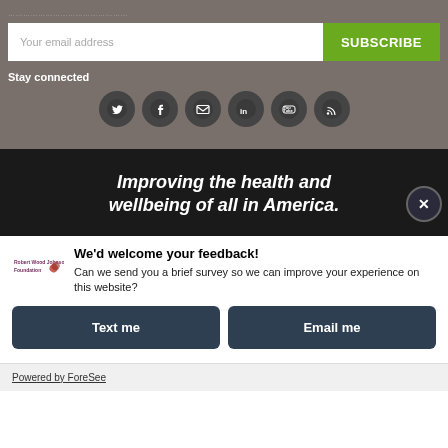Your email address
SUBSCRIBE
Stay connected
[Figure (infographic): Row of six social media icons (Twitter, Facebook, Email/envelope, LinkedIn, YouTube, RSS) as dark circular buttons]
Improving the health and wellbeing of all in America.
We'd welcome your feedback!
Can we send you a brief survey so we can improve your experience on this website?
Text me
Email me
Powered by ForeSee